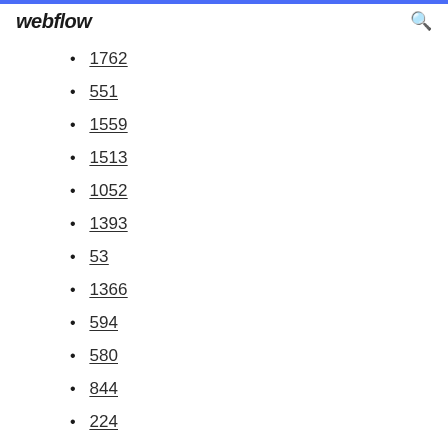webflow
1762
551
1559
1513
1052
1393
53
1366
594
580
844
224